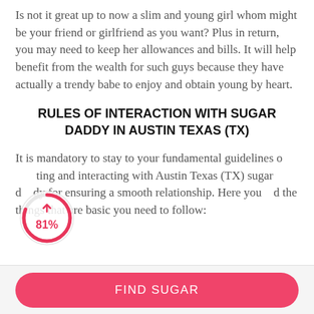Is not it great up to now a slim and young girl whom might be your friend or girlfriend as you want? Plus in return, you may need to keep her allowances and bills. It will help benefit from the wealth for such guys because they have actually a trendy babe to enjoy and obtain young by heart.
RULES OF INTERACTION WITH SUGAR DADDY IN AUSTIN TEXAS (TX)
It is mandatory to stay to your fundamental guidelines o  ting and interacting with Austin Texas (TX) sugar d  dy for ensuring a smooth relationship. Here you  d the things that are basic you need to follow:
[Figure (infographic): A circular progress indicator showing 81% in pink/red, overlapping the body text paragraph.]
FIND SUGAR